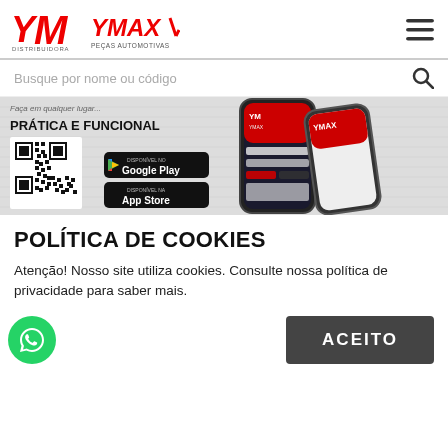[Figure (logo): YM Distribuidora / YMAX Peças Automotivas logo in red with hamburger menu icon]
Busque por nome ou código
[Figure (screenshot): YMAX app promotional banner showing 'PRÁTICA E FUNCIONAL', a QR code, Google Play and App Store badges, and a phone mockup]
POLÍTICA DE COOKIES
Atenção! Nosso site utiliza cookies. Consulte nossa política de privacidade para saber mais.
[Figure (other): WhatsApp chat button (green circle with chat icon) and ACEITO (accept) dark button]